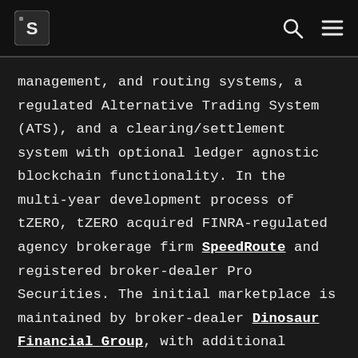S [logo] | Q [search] | = [menu]
management, and routing systems, a regulated Alternative Trading System (ATS), and a clearing/settlement system with optional ledger agnostic blockchain functionality. In the multi-year development process of tZERO, tZERO acquired FINRA-regulated agency brokerage firm SpeedRoute and registered broker-dealer Pro Securities. The initial marketplace is maintained by broker-dealer Dinosaur Financial Group, with additional entities to be added to increase liquidity and market coverage. The front end trading systems aim to accommodate both professional and retail traders. The platform also uses a Smart Order Router system to dynamically route